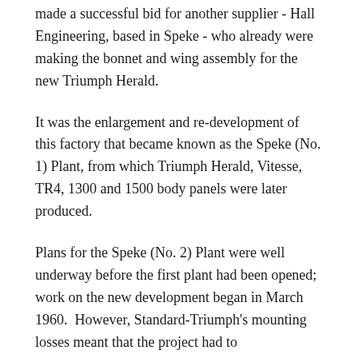made a successful bid for another supplier - Hall Engineering, based in Speke - who already were making the bonnet and wing assembly for the new Triumph Herald.
It was the enlargement and re-development of this factory that became known as the Speke (No. 1) Plant, from which Triumph Herald, Vitesse, TR4, 1300 and 1500 body panels were later produced.
Plans for the Speke (No. 2) Plant were well underway before the first plant had been opened; work on the new development began in March 1960.  However, Standard-Triumph's mounting losses meant that the project had to